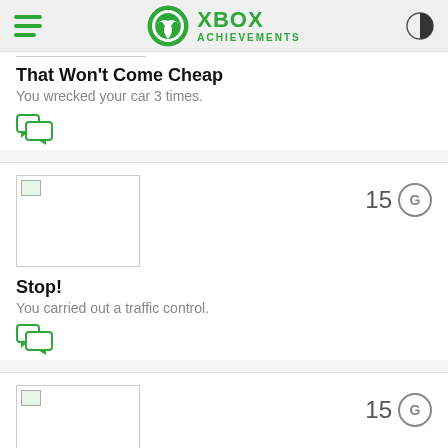XBOX ACHIEVEMENTS
That Won't Come Cheap
You wrecked your car 3 times.
[Figure (illustration): Green comment/chat bubble icon]
[Figure (photo): Achievement thumbnail image placeholder]
15 G
Stop!
You carried out a traffic control.
[Figure (illustration): Green comment/chat bubble icon]
[Figure (photo): Achievement thumbnail image placeholder]
15 G
Trigger happy